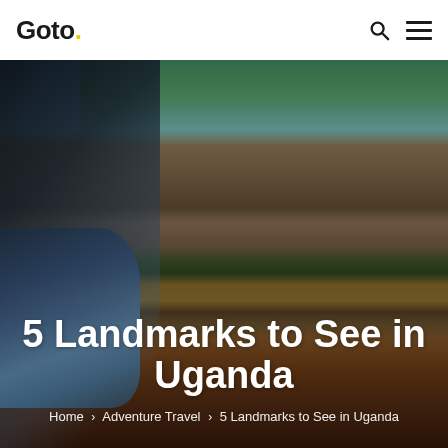Goto.
5 Landmarks to See in Uganda
Home > Adventure Travel > 5 Landmarks to See in Uganda
[Figure (photo): Hero image of Ugandan landscape viewed from a car side mirror, showing rocky hills, green vegetation, a thatched-roof hut, dry savanna grass, and red soil in the foreground. The car's side mirror is visible in the lower-left portion of the image.]